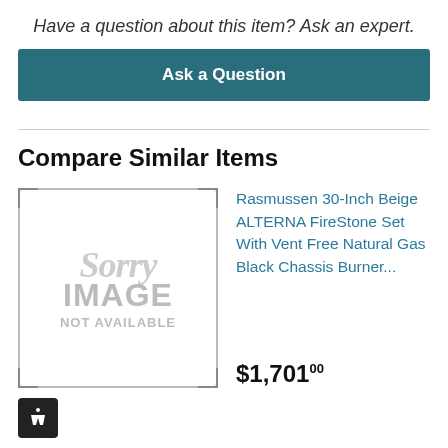Have a question about this item? Ask an expert.
Ask a Question
Compare Similar Items
[Figure (illustration): Product image placeholder showing 'Sorry IMAGE NOT AVAILABLE' text in grey]
Rasmussen 30-Inch Beige ALTERNA FireStone Set With Vent Free Natural Gas Black Chassis Burner...
$1,701.00